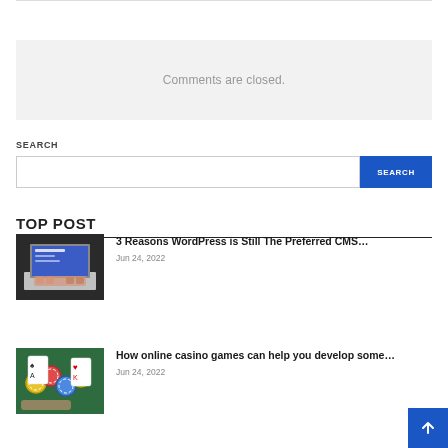Comments are closed.
Search
SEARCH
TOP POST
[Figure (photo): Hands typing on a laptop computer, viewed from above]
3 Reasons WordPress is Still The Preferred CMS…
Jun 24, 2022
[Figure (photo): Casino chips and cards on a green felt table]
How online casino games can help you develop some…
Jun 24, 2022